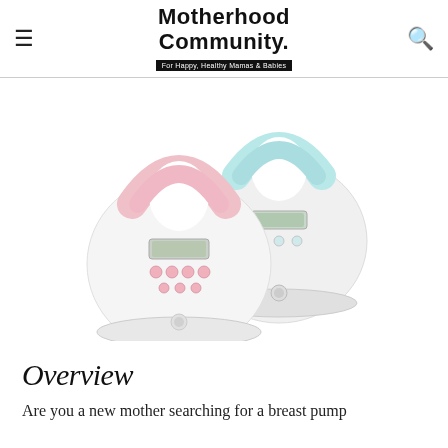Motherhood Community. For Happy, Healthy Mamas & Babies
[Figure (photo): Two Spectra breast pumps side by side — one with a pink accent and one with a light blue accent, both white/grey egg-shaped devices with digital displays and control buttons]
Overview
Are you a new mother searching for a breast pump